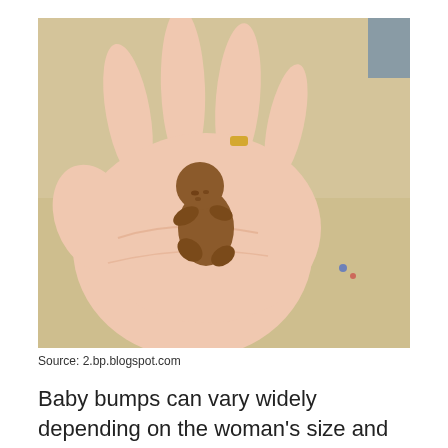[Figure (photo): A hand held open with a small brown clay or resin figurine of a fetus/baby resting in the palm. The person wearing a gold ring on their ring finger. Background is a light wooden surface.]
Source: 2.bp.blogspot.com
Baby bumps can vary widely depending on the woman's size and shape and whether this is a first or subsequent pregnancy.